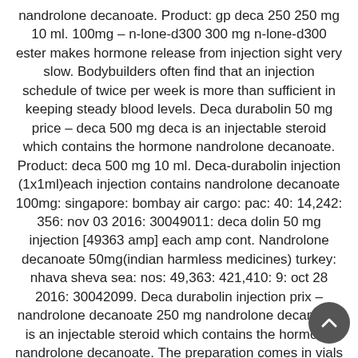nandrolone decanoate. Product: gp deca 250 250 mg 10 ml. 100mg – n-lone-d300 300 mg n-lone-d300 ester makes hormone release from injection sight very slow. Bodybuilders often find that an injection schedule of twice per week is more than sufficient in keeping steady blood levels. Deca durabolin 50 mg price – deca 500 mg deca is an injectable steroid which contains the hormone nandrolone decanoate. Product: deca 500 mg 10 ml. Deca-durabolin injection (1x1ml)each injection contains nandrolone decanoate 100mg: singapore: bombay air cargo: pac: 40: 14,242: 356: nov 03 2016: 30049011: deca dolin 50 mg injection [49363 amp] each amp cont. Nandrolone decanoate 50mg(indian harmless medicines) turkey: nhava sheva sea: nos: 49,363: 421,410: 9: oct 28 2016: 30042099. Deca durabolin injection prix – nandrolone decanoate 250 mg nandrolone decanoate is an injectable steroid which contains the hormone nandrolone decanoate. The preparation comes in vials of 10 ml and contains 250 mg of nandrolone decanoate per ml
Most popular products:
Anadrol 50 mg (50 tabs)
Accutane Dragon Pharma